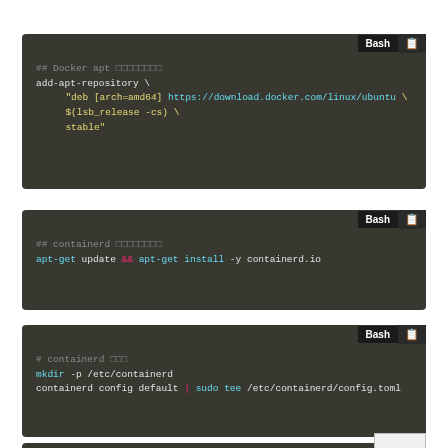[Figure (screenshot): Code block 1: Bash snippet for Docker apt repository setup with add-apt-repository command]
[Figure (screenshot): Code block 2: Bash snippet for containerd installation with apt-get update && apt-get install -y containerd.io]
[Figure (screenshot): Code block 3: Bash snippet for containerd config with mkdir and containerd config default | sudo tee commands]
[Figure (screenshot): Code block 4 (partial): bottom strip of another Bash code block]